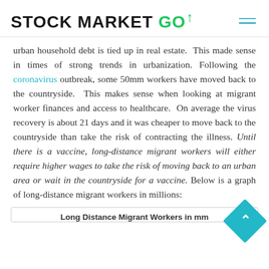STOCK MARKET GO
urban household debt is tied up in real estate.  This made sense in times of strong trends in urbanization. Following the coronavirus outbreak, some 50mm workers have moved back to the countryside.  This makes sense when looking at migrant worker finances and access to healthcare.  On average the virus recovery is about 21 days and it was cheaper to move back to the countryside than take the risk of contracting the illness. Until there is a vaccine, long-distance migrant workers will either require higher wages to take the risk of moving back to an urban area or wait in the countryside for a vaccine. Below is a graph of long-distance migrant workers in millions:
Long Distance Migrant Workers in mm